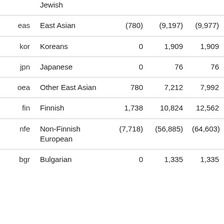| Code | Name | Col3 | Col4 | Col5 |
| --- | --- | --- | --- | --- |
|  | Jewish |  |  |  |
| eas | East Asian | (780) | (9,197) | (9,977) |
| kor | Koreans | 0 | 1,909 | 1,909 |
| jpn | Japanese | 0 | 76 | 76 |
| oea | Other East Asian | 780 | 7,212 | 7,992 |
| fin | Finnish | 1,738 | 10,824 | 12,562 |
| nfe | Non-Finnish European | (7,718) | (56,885) | (64,603) |
| bgr | Bulgarian | 0 | 1,335 | 1,335 |